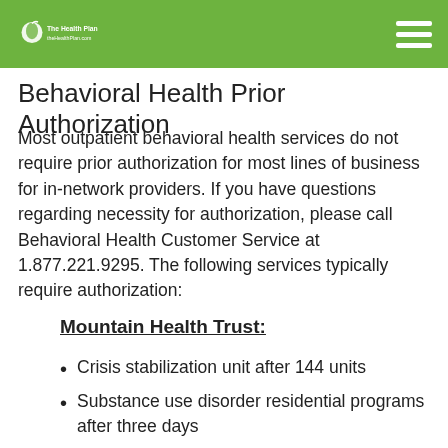The Health Plan — Behavioral Health Prior Authorization
Behavioral Health Prior Authorization
Most outpatient behavioral health services do not require prior authorization for most lines of business for in-network providers. If you have questions regarding necessity for authorization, please call Behavioral Health Customer Service at 1.877.221.9295. The following services typically require authorization:
Mountain Health Trust:
Crisis stabilization unit after 144 units
Substance use disorder residential programs after three days
PHP/IOP after 30 sessions